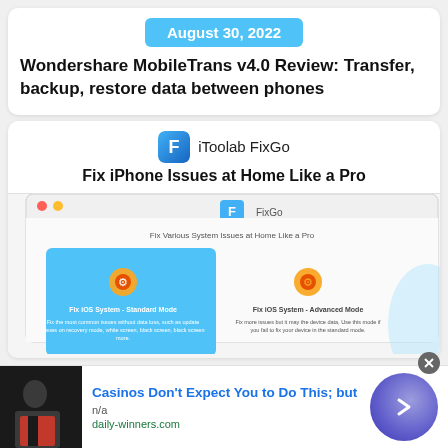August 30, 2022
Wondershare MobileTrans v4.0 Review: Transfer, backup, restore data between phones
[Figure (screenshot): iToolab FixGo advertisement card with logo, tagline 'Fix iPhone Issues at Home Like a Pro', and a screenshot of the FixGo application showing iOS system fix options including Standard Mode and Advanced Mode]
[Figure (infographic): Advertisement banner: 'Casinos Don't Expect You to Do This; but' with image of person, domain daily-winners.com, and arrow button]